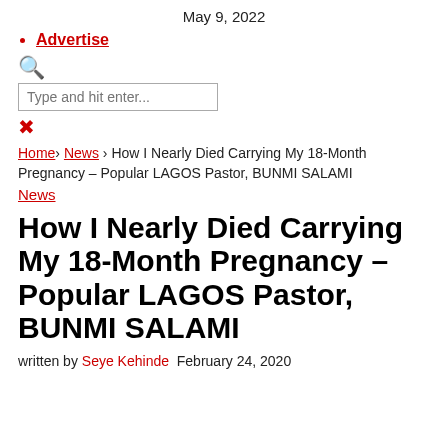May 9, 2022
Advertise
🔍 [search icon]
Type and hit enter...
✕ [close icon]
Home > News > How I Nearly Died Carrying My 18-Month Pregnancy – Popular LAGOS Pastor, BUNMI SALAMI
News
How I Nearly Died Carrying My 18-Month Pregnancy – Popular LAGOS Pastor, BUNMI SALAMI
written by Seye Kehinde  February 24, 2020